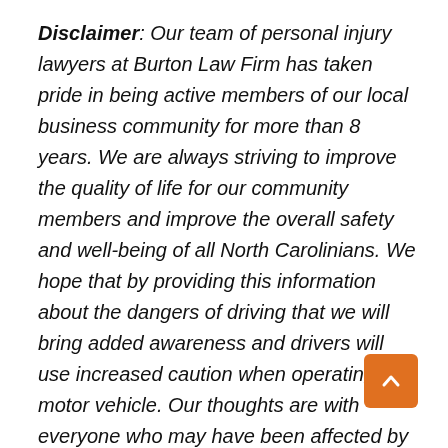Disclaimer: Our team of personal injury lawyers at Burton Law Firm has taken pride in being active members of our local business community for more than 8 years. We are always striving to improve the quality of life for our community members and improve the overall safety and well-being of all North Carolinians. We hope that by providing this information about the dangers of driving that we will bring added awareness and drivers will use increased caution when operating a motor vehicle. Our thoughts are with everyone who may have been affected by this incident. This post is not a solicitation for business. None of the information in this post should be misconstrued as medical or legal advice. The photos in this post are not a depiction of the actual accident scene.